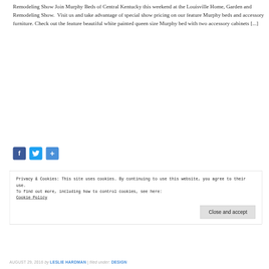Remodeling Show Join Murphy Beds of Central Kentucky this weekend at the Louisville Home, Garden and Remodeling Show.  Visit us and take advantage of special show pricing on our feature Murphy beds and accessory furniture. Check out the feature beautiful white painted queen size Murphy bed with two accessory cabinets [...]
[Figure (other): Social sharing icons: Facebook (blue square with f), Twitter (blue square with bird icon), Share (blue square with plus sign)]
Privacy & Cookies: This site uses cookies. By continuing to use this website, you agree to their use.
To find out more, including how to control cookies, see here: Cookie Policy
[Close and accept button]
AUGUST 29, 2016 by LESLIE HARDMAN | filed under: DESIGN